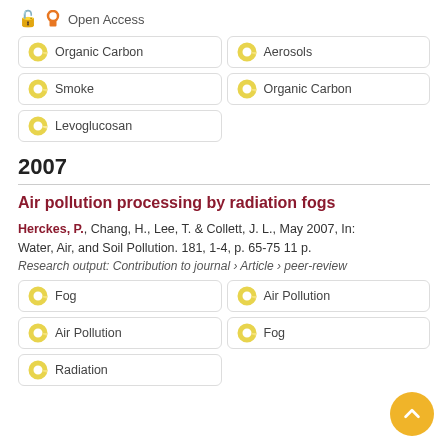Open Access
Organic Carbon
Aerosols
Smoke
Organic Carbon
Levoglucosan
2007
Air pollution processing by radiation fogs
Herckes, P., Chang, H., Lee, T. & Collett, J. L., May 2007, In: Water, Air, and Soil Pollution. 181, 1-4, p. 65-75 11 p.
Research output: Contribution to journal › Article › peer-review
Fog
Air Pollution
Air Pollution
Fog
Radiation